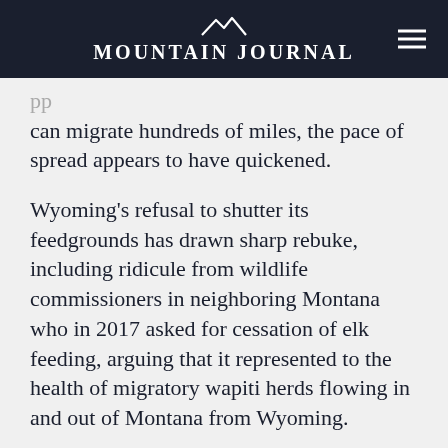Mountain Journal
can migrate hundreds of miles, the pace of spread appears to have quickened.
Wyoming's refusal to shutter its feedgrounds has drawn sharp rebuke, including ridicule from wildlife commissioners in neighboring Montana who in 2017 asked for cessation of elk feeding, arguing that it represented to the health of migratory wapiti herds flowing in and out of Montana from Wyoming.
Telling is that some research modeling has suggested that CWD, were it to take hold in